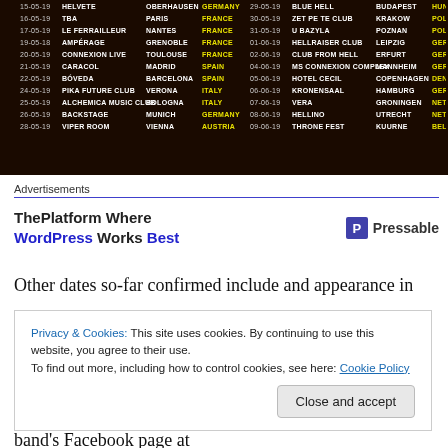[Figure (table-as-image): Tour schedule image showing concert dates, venues, cities and countries in a dark background table format with white and yellow text]
Advertisements
[Figure (screenshot): Advertisement banner: 'ThePlatform Where WordPress Works Best' with Pressable logo]
Other dates so-far confirmed include and appearance in
Privacy & Cookies: This site uses cookies. By continuing to use this website, you agree to their use. To find out more, including how to control cookies, see here: Cookie Policy
band's Facebook page at